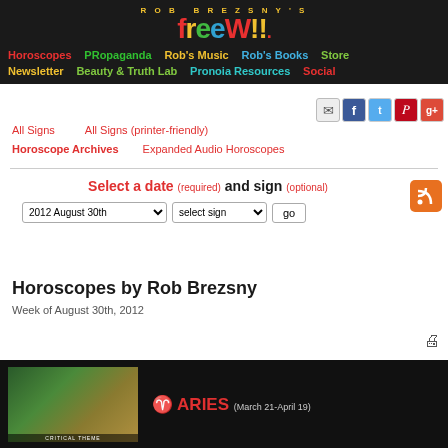ROB BREZSNY'S FREEWILL - Navigation: Horoscopes | PRopaganda | Rob's Music | Rob's Books | Store | Newsletter | Beauty & Truth Lab | Pronoia Resources | Social
All Signs    All Signs (printer-friendly)
Horoscope Archives    Expanded Audio Horoscopes
Select a date (required) and sign (optional)
2012 August 30th [dropdown]  select sign [dropdown]  go [button]
Horoscopes by Rob Brezsny
Week of August 30th, 2012
[Figure (photo): Thumbnail image at bottom left, landscape nature scene with green and brown tones. Label reads 'CRITICAL THEME']